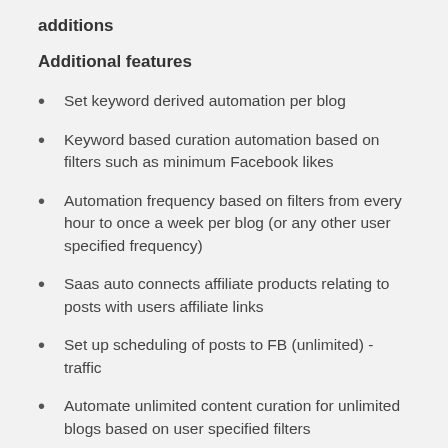additions
Additional features
Set keyword derived automation per blog
Keyword based curation automation based on filters such as minimum Facebook likes
Automation frequency based on filters from every hour to once a week per blog (or any other user specified frequency)
Saas auto connects affiliate products relating to posts with users affiliate links
Set up scheduling of posts to FB (unlimited) - traffic
Automate unlimited content curation for unlimited blogs based on user specified filters
Included additional Monetization platforms –